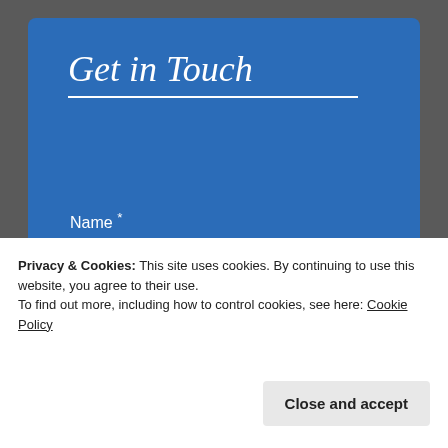Get in Touch
Name *
Email *
Privacy & Cookies: This site uses cookies. By continuing to use this website, you agree to their use.
To find out more, including how to control cookies, see here: Cookie Policy
Close and accept